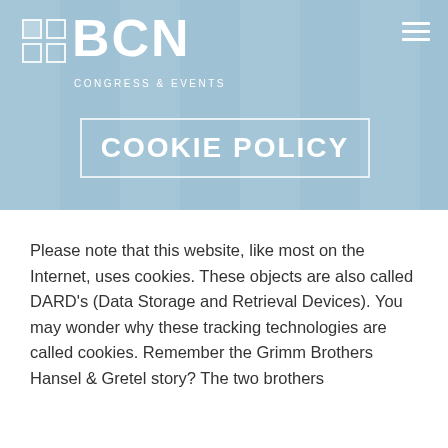[Figure (logo): BCN Congress & Events logo with grid of squares icon, white text on blue-grey hero background]
COOKIE POLICY
Please note that this website, like most on the Internet, uses cookies. These objects are also called DARD's (Data Storage and Retrieval Devices). You may wonder why these tracking technologies are called cookies. Remember the Grimm Brothers Hansel & Gretel story? The two brothers could be read by visiting to...